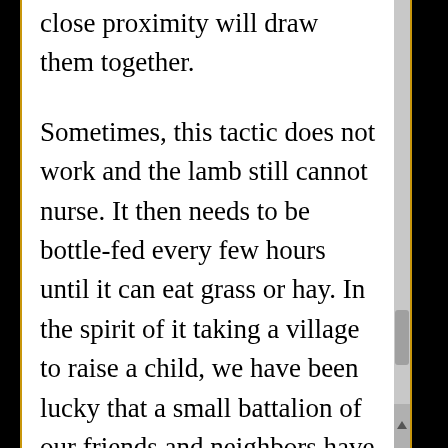close proximity will draw them together.

Sometimes, this tactic does not work and the lamb still cannot nurse. It then needs to be bottle-fed every few hours until it can eat grass or hay. In the spirit of it taking a village to raise a child, we have been lucky that a small battalion of our friends and neighbors have been willing to take on bottle-feeding lambs. We are sure that the adorable